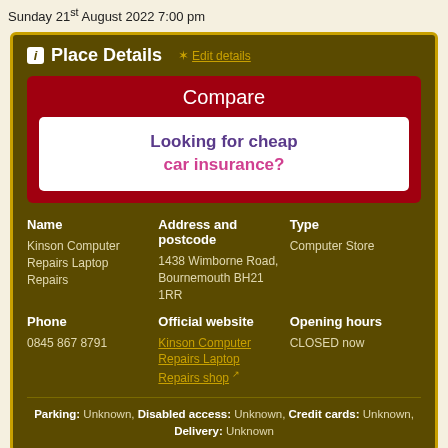Sunday 21st August 2022 7:00 pm
Place Details  Edit details
[Figure (infographic): Compare box with red background showing 'Looking for cheap car insurance?' advertisement]
| Name | Address and postcode | Type |
| --- | --- | --- |
| Kinson Computer Repairs Laptop Repairs | 1438 Wimborne Road, Bournemouth BH21 1RR | Computer Store |
| Phone | Official website | Opening hours |
| --- | --- | --- |
| 0845 867 8791 | Kinson Computer Repairs Laptop Repairs shop | CLOSED now |
Parking: Unknown, Disabled access: Unknown, Credit cards: Unknown, Delivery: Unknown